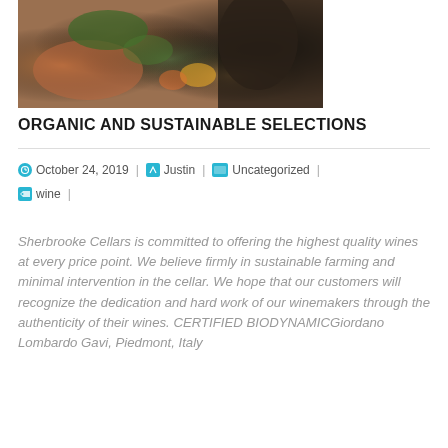[Figure (photo): Food photo showing meat dish with green vegetables, colorful garnishes, and a dark vessel/container in the background]
ORGANIC AND SUSTAINABLE SELECTIONS
October 24, 2019 | Justin | Uncategorized | wine |
Sherbrooke Cellars is committed to offering the highest quality wines at every price point. We believe firmly in sustainable farming and minimal intervention in the cellar. We hope that our customers will recognize the dedication and hard work of our winemakers through the authenticity of their wines. CERTIFIED BIODYNAMICGiordano Lombardo Gavi, Piedmont, Italy